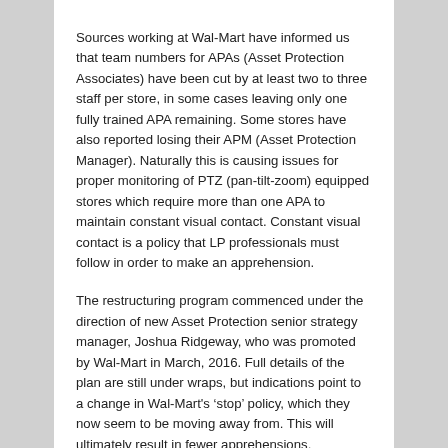Sources working at Wal-Mart have informed us that team numbers for APAs (Asset Protection Associates) have been cut by at least two to three staff per store, in some cases leaving only one fully trained APA remaining. Some stores have also reported losing their APM (Asset Protection Manager). Naturally this is causing issues for proper monitoring of PTZ (pan-tilt-zoom) equipped stores which require more than one APA to maintain constant visual contact. Constant visual contact is a policy that LP professionals must follow in order to make an apprehension.
The restructuring program commenced under the direction of new Asset Protection senior strategy manager, Joshua Ridgeway, who was promoted by Wal-Mart in March, 2016. Full details of the plan are still under wraps, but indications point to a change in Wal-Mart's ‘stop’ policy, which they now seem to be moving away from. This will ultimately result in fewer apprehensions.